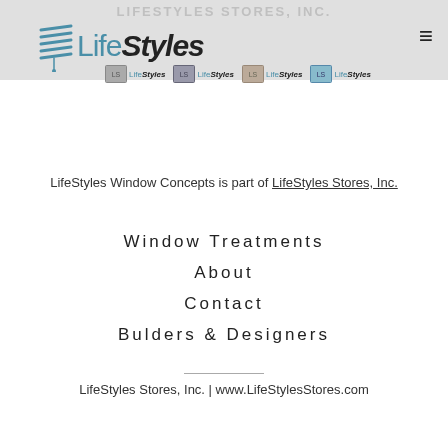LIFESTYLES STORES, INC.
[Figure (logo): LifeStyles logo with teal horizontal lines forming a blind/shade icon on the left, and 'LifeStyles' text in teal and bold italic dark]
[Figure (logo): Four sub-brand logos for LifeStyles in a row, each with a small thumbnail image]
LifeStyles Window Concepts is part of LifeStyles Stores, Inc.
Window Treatments
About
Contact
Bulders & Designers
LifeStyles Stores, Inc. | www.LifeStylesStores.com